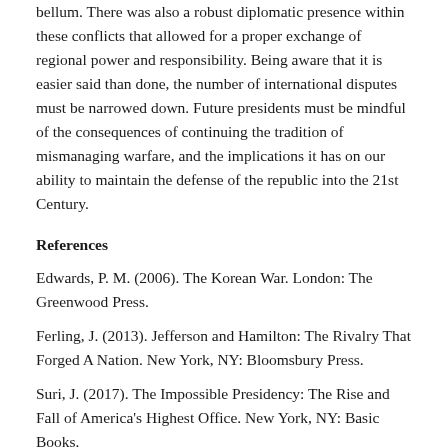bellum. There was also a robust diplomatic presence within these conflicts that allowed for a proper exchange of regional power and responsibility. Being aware that it is easier said than done, the number of international disputes must be narrowed down. Future presidents must be mindful of the consequences of continuing the tradition of mismanaging warfare, and the implications it has on our ability to maintain the defense of the republic into the 21st Century.
References
Edwards, P. M. (2006). The Korean War. London: The Greenwood Press.
Ferling, J. (2013). Jefferson and Hamilton: The Rivalry That Forged A Nation. New York, NY: Bloomsbury Press.
Suri, J. (2017). The Impossible Presidency: The Rise and Fall of America's Highest Office. New York, NY: Basic Books.
Categories: small wars - president - presidency - irregular